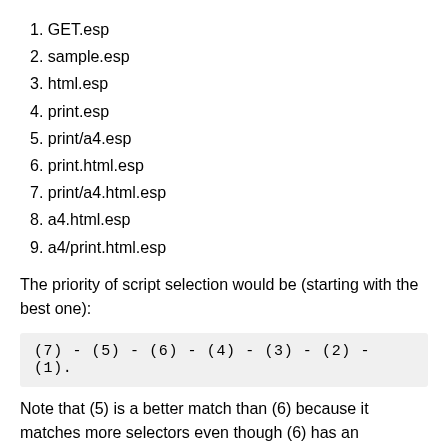1. GET.esp
2. sample.esp
3. html.esp
4. print.esp
5. print/a4.esp
6. print.html.esp
7. print/a4.html.esp
8. a4.html.esp
9. a4/print.html.esp
The priority of script selection would be (starting with the best one):
Note that (5) is a better match than (6) because it matches more selectors even though (6) has an extension match where (5) does not. (8) is not a